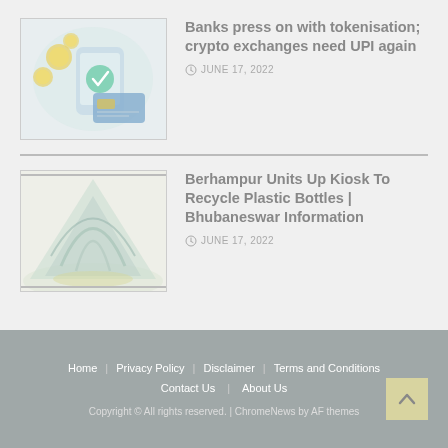[Figure (illustration): Illustration of digital payment concept with coins, cards, and a mobile device in green/blue tones]
Banks press on with tokenisation; crypto exchanges need UPI again
JUNE 17, 2022
[Figure (illustration): Abstract illustration of a recycling or environmental concept with light blue/green cone shapes]
Berhampur Units Up Kiosk To Recycle Plastic Bottles | Bhubaneswar Information
JUNE 17, 2022
Home | Privacy Policy | Disclaimer | Terms and Conditions | Contact Us | About Us | Copyright © All rights reserved. | ChromeNews by AF themes